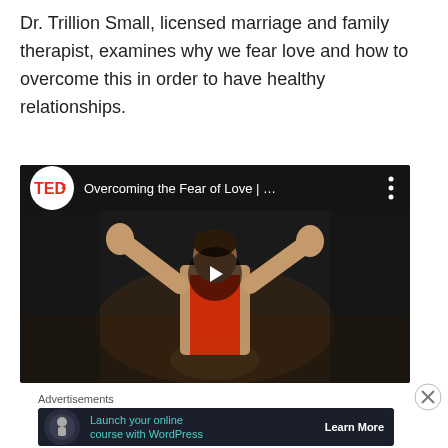Dr. Trillion Small, licensed marriage and family therapist, examines why we fear love and how to overcome this in order to have healthy relationships.
[Figure (screenshot): TEDx YouTube video thumbnail showing a woman in a tan blazer with red shirt on a dark stage with arms raised, titled 'Overcoming the Fear of Love | ...']
Advertisements
[Figure (screenshot): Advertisement banner with dark background showing 'Launch your online course with WordPress' with teal text and a 'Learn More' button]